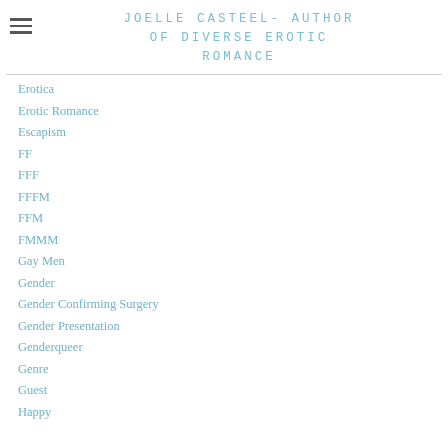JOELLE CASTEEL- AUTHOR OF DIVERSE EROTIC ROMANCE
Erotica
Erotic Romance
Escapism
FF
FFF
FFFM
FFM
FMMM
Gay Men
Gender
Gender Confirming Surgery
Gender Presentation
Genderqueer
Genre
Guest
Happy